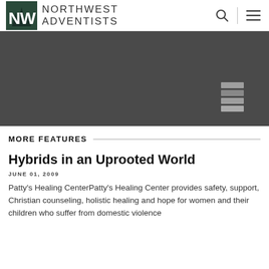NORTHWEST ADVENTISTS
[Figure (photo): Dark grey hero image with stacked horizontal bars/caption area at bottom right]
MORE FEATURES
Hybrids in an Uprooted World
JUNE 01, 2009
Patty's Healing CenterPatty's Healing Center provides safety, support, Christian counseling, holistic healing and hope for women and their children who suffer from domestic violence